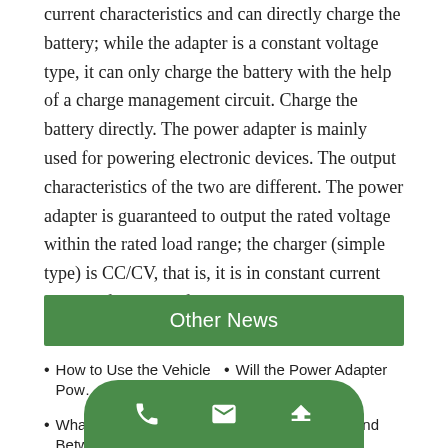current characteristics and can directly charge the battery; while the adapter is a constant voltage type, it can only charge the battery with the help of a charge management circuit. Charge the battery directly. The power adapter is mainly used for powering electronic devices. The output characteristics of the two are different. The power adapter is guaranteed to output the rated voltage within the rated load range; the charger (simple type) is CC/CV, that is, it is in constant current mode before being fully charged, and the output current is 0 when fully charged.
Other News
How to Use the Vehicle Pow...
Will the Power Adapter Leak?
What's the Difference Betwe...
Correct Charging and Maint...
Applic... owe...